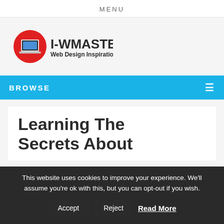MENU
[Figure (logo): I-WMASTER Web Design Inspiration logo with red circle containing laptop icon]
BROWSE
Learning The Secrets About
This website uses cookies to improve your experience. We'll assume you're ok with this, but you can opt-out if you wish. Accept Reject Read More